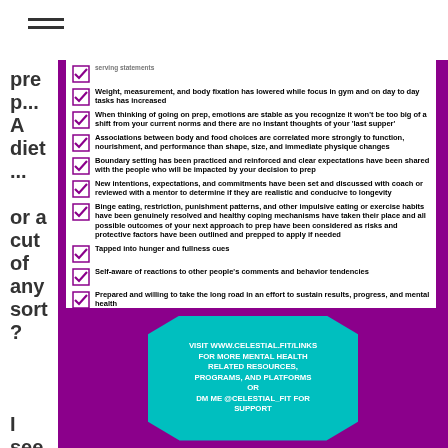[Figure (other): Hamburger menu icon (three horizontal lines)]
pre p... A diet ... or a cut of any sort?
serving statements
Weight, measurement, and body fixation has lowered while focus in gym and on day to day tasks has increased
When thinking of going on prep, emotions are stable as you recognize it won't be too big of a shift from your current norms and there are no instant thoughts of your 'last supper'
Associations between body and food choices are correlated more strongly to function, nourishment, and performance than shape, size, and immediate physique changes
Boundary setting has been practiced and reinforced and clear expectations have been shared with the people who will be impacted by your decision to prep
New intentions, expectations, and commitments have been set and discussed with coach or reviewed with a mentor to determine if they are realistic and conducive to longevity
Binge eating, restriction, punishment patterns, and other impulsive eating or exercise habits have been genuinely resolved and healthy coping mechanisms have taken their place and all possible outcomes of your next approach to prep have been considered as risks and protective factors have been outlined and prepped to apply if needed
Tapped into hunger and fullness cues
Self-aware of reactions to other people's comments and behavior tendencies
Prepared and willing to take the long road in an effort to sustain results, progress, and mental health
Reaching a new level and pushing yourself beyond your limits sounds exciting and you feel prepared for the non-linear possibilities as much as the linear
I see ma ny fem
VISIT WWW.CELESTIAL.FIT/LINKS FOR MORE MENTAL HEALTH RELATED RESOURCES, PROGRAMS, AND PLATFORMS OR DM ME @CELESTIAL_FIT FOR SUPPORT